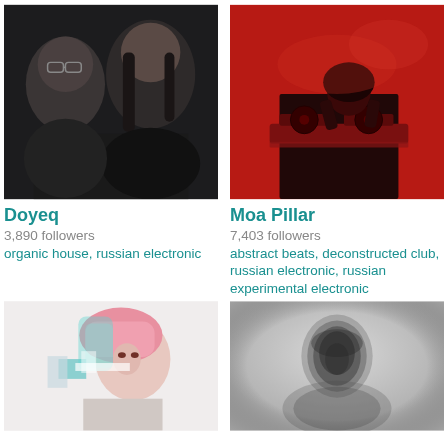[Figure (photo): Two men in dark clothing, one wearing glasses, close-up portrait in black and white tones]
Doyeq
3,890 followers
organic house, russian electronic
[Figure (photo): DJ performing at turntables under red lighting in a dark venue]
Moa Pillar
7,403 followers
abstract beats, deconstructed club, russian electronic, russian experimental electronic
[Figure (photo): Woman with pink hair, glitch/double exposure effect, light background]
[Figure (photo): Hooded figure in black and white blurred portrait]